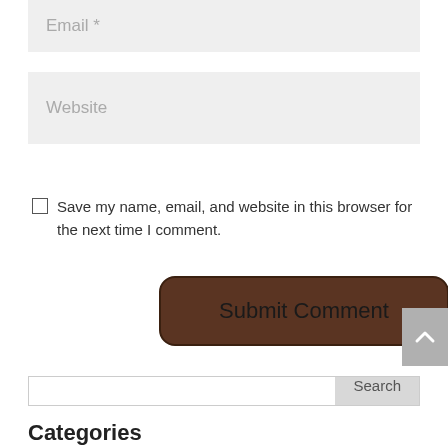Email *
Website
Save my name, email, and website in this browser for the next time I comment.
Submit Comment
Search
Categories